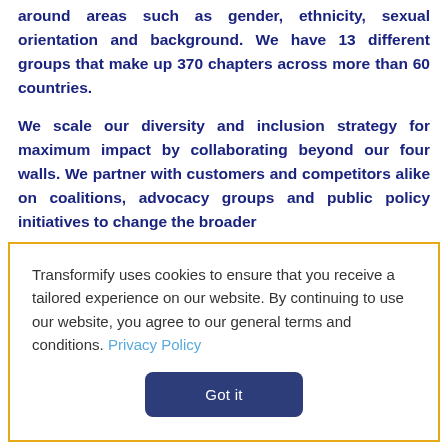around areas such as gender, ethnicity, sexual orientation and background. We have 13 different groups that make up 370 chapters across more than 60 countries.
We scale our diversity and inclusion strategy for maximum impact by collaborating beyond our four walls. We partner with customers and competitors alike on coalitions, advocacy groups and public policy initiatives to change the broader
Transformify uses cookies to ensure that you receive a tailored experience on our website. By continuing to use our website, you agree to our general terms and conditions. Privacy Policy
Got it